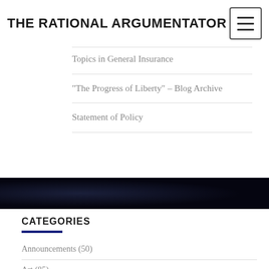THE RATIONAL ARGUMENTATOR
Topics in General Insurance
“The Progress of Liberty” – Blog Archive
Statement of Policy
CATEGORIES
Announcements (50)
Art (85)
Business (61)
Culture (137)